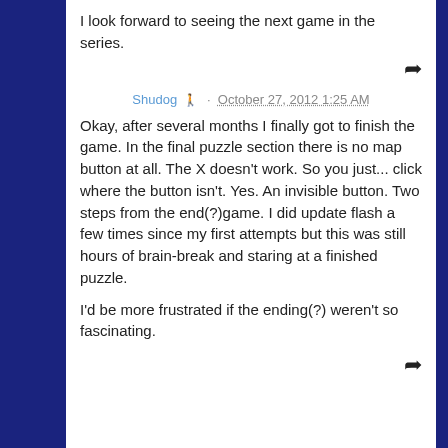I look forward to seeing the next game in the series.
Shudog · October 27, 2012 1:25 AM
Okay, after several months I finally got to finish the game. In the final puzzle section there is no map button at all. The X doesn't work. So you just... click where the button isn't. Yes. An invisible button. Two steps from the end(?)game. I did update flash a few times since my first attempts but this was still hours of brain-break and staring at a finished puzzle.
I'd be more frustrated if the ending(?) weren't so fascinating.